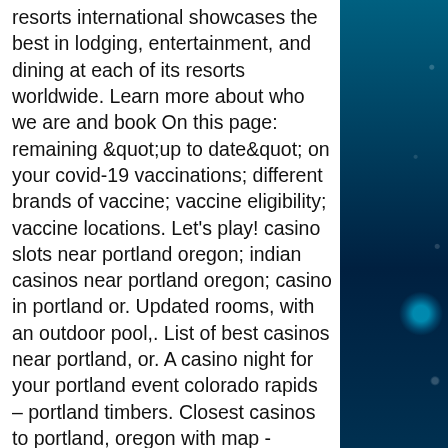resorts international showcases the best in lodging, entertainment, and dining at each of its resorts worldwide. Learn more about who we are and book On this page: remaining &quot;up to date&quot; on your covid-19 vaccinations; different brands of vaccine; vaccine eligibility; vaccine locations. Let's play! casino slots near portland oregon; indian casinos near portland oregon; casino in portland or. Updated rooms, with an outdoor pool,. List of best casinos near portland, or. A casino night for your portland event colorado rapids – portland timbers. Closest casinos to portland, oregon with map - gamboool. Inn at the convention center. Northeast portland,chinook winds casino - view on map. Conveniently situated just off interstate 5 in redding, offering a state of the art casino, resort, and hotel win-river is your place to play. United states so that you can easily find the best place to play nearest